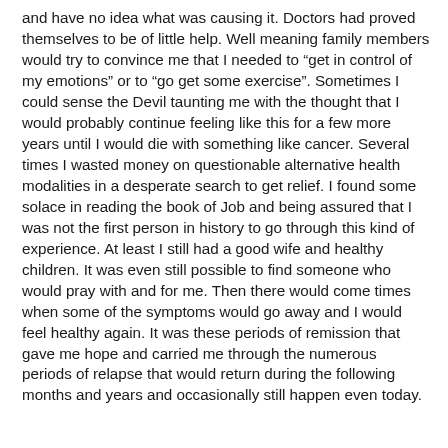and have no idea what was causing it. Doctors had proved themselves to be of little help. Well meaning family members would try to convince me that I needed to “get in control of my emotions” or to “go get some exercise”. Sometimes I could sense the Devil taunting me with the thought that I would probably continue feeling like this for a few more years until I would die with something like cancer. Several times I wasted money on questionable alternative health modalities in a desperate search to get relief. I found some solace in reading the book of Job and being assured that I was not the first person in history to go through this kind of experience. At least I still had a good wife and healthy children. It was even still possible to find someone who would pray with and for me. Then there would come times when some of the symptoms would go away and I would feel healthy again. It was these periods of remission that gave me hope and carried me through the numerous periods of relapse that would return during the following months and years and occasionally still happen even today.